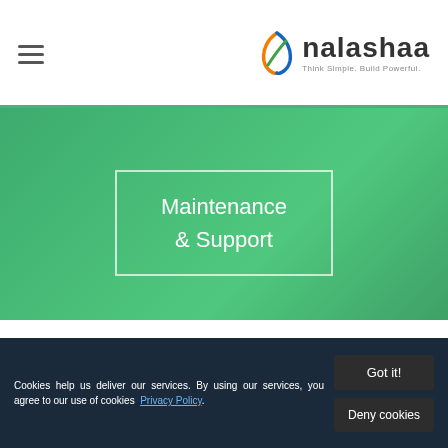nalashaa — Think Simple. Build Powerful.
Maintenance & Support
Integration assessments and strategy consultation with our EDI Experts.
System assessment
Cookies help us deliver our services. By using our services, you agree to our use of cookies Privacy Policy